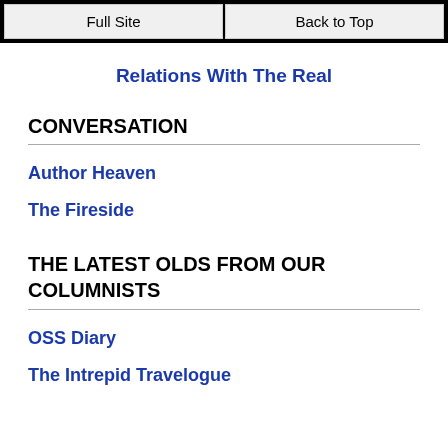Full Site | Back to Top
Relations With The Real
CONVERSATION
Author Heaven
The Fireside
THE LATEST OLDS FROM OUR COLUMNISTS
OSS Diary
The Intrepid Travelogue